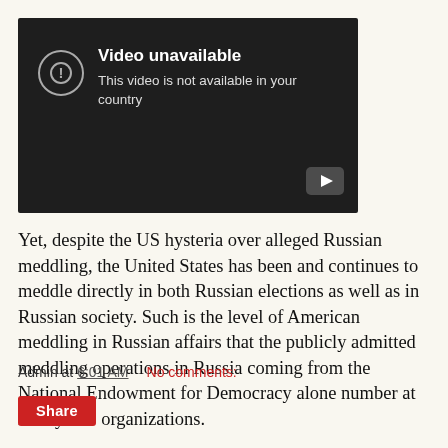[Figure (screenshot): YouTube video unavailable screen with dark background. Shows a circle with exclamation mark icon, text 'Video unavailable' and 'This video is not available in your country', and a play button in the bottom right corner.]
Yet, despite the US hysteria over alleged Russian meddling, the United States has been and continues to meddle directly in both Russian elections as well as in Russian society. Such is the level of American meddling in Russian affairs that the publicly admitted meddling operations in Russia coming from the National Endowment for Democracy alone number at nearly 100 organizations.
Admin at 6:01 AM    No comments:
Share